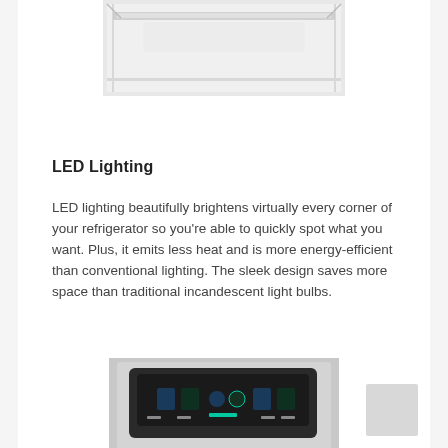[Figure (photo): Interior of a refrigerator compartment showing the ceiling with LED lighting strip, white walls and shelves visible from above.]
LED Lighting
LED lighting beautifully brightens virtually every corner of your refrigerator so you're able to quickly spot what you want. Plus, it emits less heat and is more energy-efficient than conventional lighting. The sleek design saves more space than traditional incandescent light bulbs.
[Figure (photo): Control panel of a refrigerator with a dark display showing temperature settings and touch controls, mounted on a stainless steel door.]